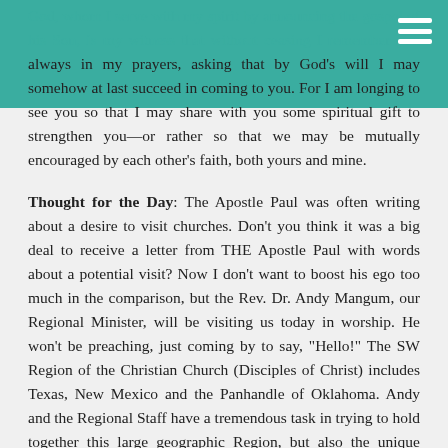God, whom I serve with my spirit by announcing the gospel of his Son, is my witness that without ceasing I remember you always in my prayers, asking that by God's will I may somehow at last succeed in coming to you. For I am longing to see you so that I may share with you some spiritual gift to strengthen you—or rather so that we may be mutually encouraged by each other's faith, both yours and mine.
Thought for the Day: The Apostle Paul was often writing about a desire to visit churches. Don't you think it was a big deal to receive a letter from THE Apostle Paul with words about a potential visit? Now I don't want to boost his ego too much in the comparison, but the Rev. Dr. Andy Mangum, our Regional Minister, will be visiting us today in worship. He won't be preaching, just coming by to say, "Hello!" The SW Region of the Christian Church (Disciples of Christ) includes Texas, New Mexico and the Panhandle of Oklahoma. Andy and the Regional Staff have a tremendous task in trying to hold together this large geographic Region, but also the unique needs of all the different churches – from rural, to suburb, to the big cities like Houston. Among their many tasks, the Regional staff trains Commissioned Ministers like Paula